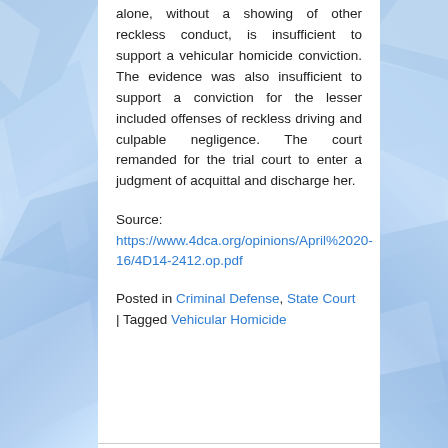alone, without a showing of other reckless conduct, is insufficient to support a vehicular homicide conviction. The evidence was also insufficient to support a conviction for the lesser included offenses of reckless driving and culpable negligence. The court remanded for the trial court to enter a judgment of acquittal and discharge her.
Source: https://www.4dca.org/opinions/April%2020-16/4D14-2412.op.pdf
Posted in Criminal Defense, State Court | Tagged Vehicular Homicide